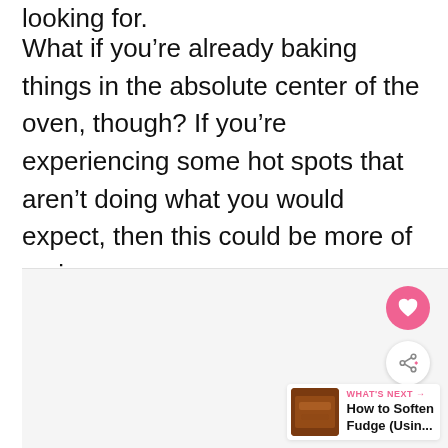looking for.
What if you’re already baking things in the absolute center of the oven, though? If you’re experiencing some hot spots that aren’t doing what you would expect, then this could be more of an issue.
[Figure (other): Gray placeholder image area with social action buttons (heart, share) overlaid, and a 'What's Next' card showing a thumbnail of fudge with text 'How to Soften Fudge (Usin...']